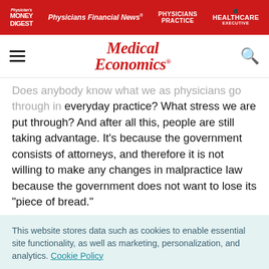Physician's Money Digest | Physicians Financial News | Physicians Practice | Healthcare Executive
[Figure (logo): Medical Economics logo with navigation hamburger menu and search icon]
Does anybody know what we as physicians go through in everyday practice? What stress we are put through? And after all this, people are still taking advantage. It's because the government consists of attorneys, and therefore it is not willing to make any changes in malpractice law because the government does not want to lose its "piece of bread."
This website stores data such as cookies to enable essential site functionality, as well as marketing, personalization, and analytics. Cookie Policy
Accept
Deny